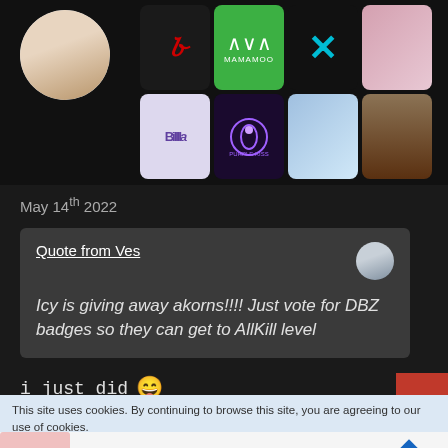[Figure (screenshot): Top section showing a profile photo (circular) and a grid of music app/artist icons including a red cursive logo, green Mamamoo icon, blue X icon, pink floral, Billlie purple text, Purple Kiss dark purple, light blue, and piano keys]
May 14th 2022
Quote from Ves
Icy is giving away akorns!!!! Just vote for DBZ badges so they can get to AllKill level
i just did 😄
This site uses cookies. By continuing to browse this site, you are agreeing to our use of cookies.
Back To School Shopping Deals
Leesburg Premium Outlets